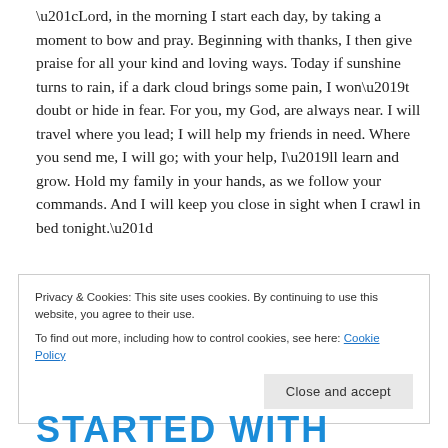“Lord, in the morning I start each day, by taking a moment to bow and pray. Beginning with thanks, I then give praise for all your kind and loving ways. Today if sunshine turns to rain, if a dark cloud brings some pain, I won’t doubt or hide in fear. For you, my God, are always near. I will travel where you lead; I will help my friends in need. Where you send me, I will go; with your help, I’ll learn and grow. Hold my family in your hands, as we follow your commands. And I will keep you close in sight when I crawl in bed tonight.”
Privacy & Cookies: This site uses cookies. By continuing to use this website, you agree to their use.
To find out more, including how to control cookies, see here: Cookie Policy
Close and accept
STARTED WITH